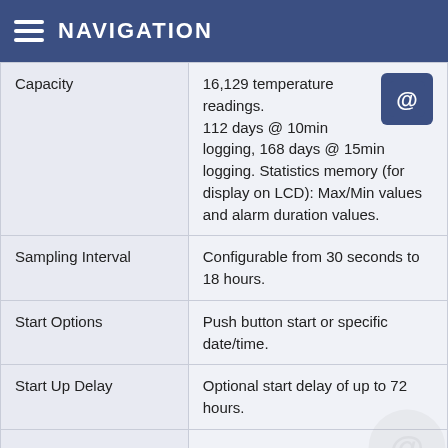NAVIGATION
|  |  |
| --- | --- |
| Capacity | 16,129 temperature readings.
112 days @ 10min logging, 168 days @ 15min logging. Statistics memory (for display on LCD): Max/Min values and alarm duration values. |
| Sampling Interval | Configurable from 30 seconds to 18 hours. |
| Start Options | Push button start or specific date/time. |
| Start Up Delay | Optional start delay of up to 72 hours. |